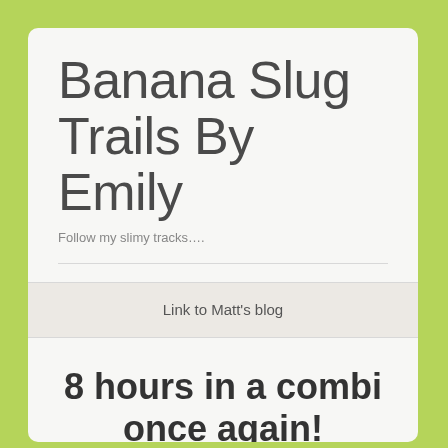Banana Slug Trails By Emily
Follow my slimy tracks....
Link to Matt's blog
8 hours in a combi once again!